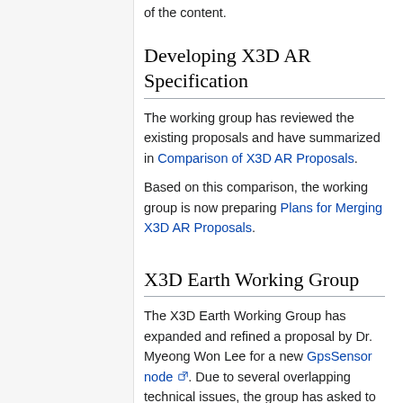of the content.
Developing X3D AR Specification
The working group has reviewed the existing proposals and have summarized in Comparison of X3D AR Proposals.
Based on this comparison, the working group is now preparing Plans for Merging X3D AR Proposals.
X3D Earth Working Group
The X3D Earth Working Group has expanded and refined a proposal by Dr. Myeong Won Lee for a new GpsSensor node. Due to several overlapping technical issues, the group has asked to collaborate with the Augmented Reality group on final design for this node.